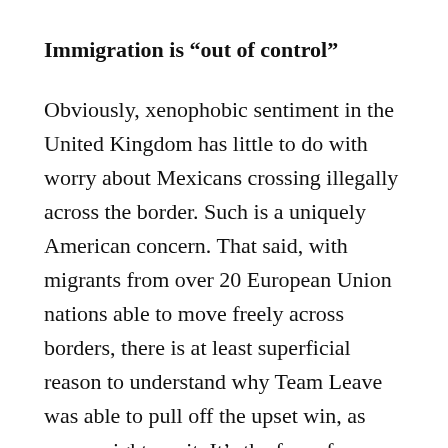Immigration is “out of control”
Obviously, xenophobic sentiment in the United Kingdom has little to do with worry about Mexicans crossing illegally across the border. Such is a uniquely American concern. That said, with migrants from over 20 European Union nations able to move freely across borders, there is at least superficial reason to understand why Team Leave was able to pull off the upset win, as some might see it. It’s the fear of outsiders. The fear of loss of cultural and national identity. The fear something could be taken away. Those same